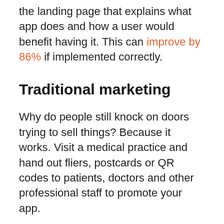the landing page that explains what app does and how a user would benefit having it. This can improve by 86% if implemented correctly.
Traditional marketing
Why do people still knock on doors trying to sell things? Because it works. Visit a medical practice and hand out fliers, postcards or QR codes to patients, doctors and other professional staff to promote your app.